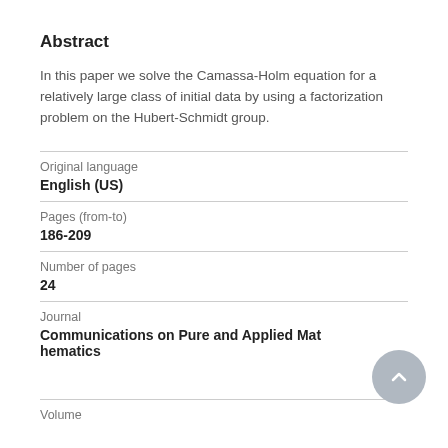Abstract
In this paper we solve the Camassa-Holm equation for a relatively large class of initial data by using a factorization problem on the Hubert-Schmidt group.
| Original language |  |
| English (US) |  |
| Pages (from-to) |  |
| 186-209 |  |
| Number of pages |  |
| 24 |  |
| Journal |  |
| Communications on Pure and Applied Mathematics |  |
| Volume |  |